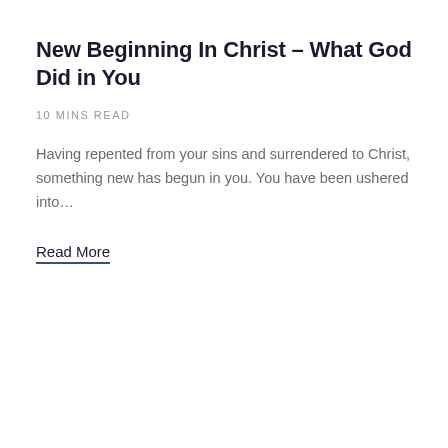New Beginning In Christ – What God Did in You
10 MINS READ
Having repented from your sins and surrendered to Christ, something new has begun in you. You have been ushered into…
Read More